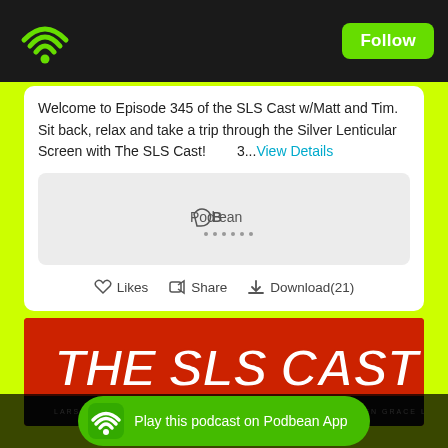[Figure (logo): WiFi/podcast icon in top left of dark header bar]
Follow
Welcome to Episode 345 of the SLS Cast w/Matt and Tim. Sit back, relax and take a trip through the Silver Lenticular Screen with The SLS Cast!        3...View Details
[Figure (other): PodBean audio player embed with podcast logo]
♡ Likes  Share  Download(21)
[Figure (illustration): The SLS Cast logo banner on red background with movie poster strip]
Play this podcast on Podbean App